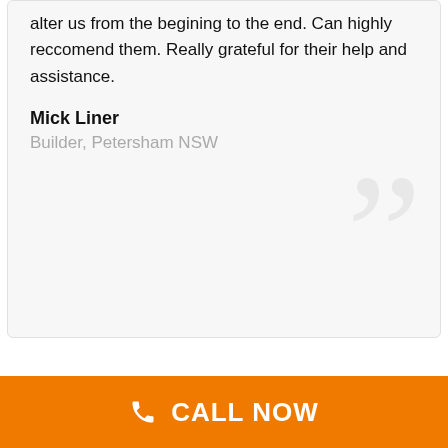alter us from the begining to the end. Can highly reccomend them. Really grateful for their help and assistance.
Mick Liner
Builder, Petersham NSW
CALL NOW